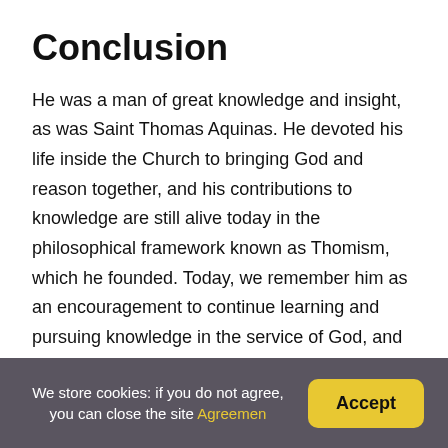Conclusion
He was a man of great knowledge and insight, as was Saint Thomas Aquinas. He devoted his life inside the Church to bringing God and reason together, and his contributions to knowledge are still alive today in the philosophical framework known as Thomism, which he founded. Today, we remember him as an encouragement to continue learning and pursuing knowledge in the service of God, and we honor him as such. Because of this, he is commonly regarded as a saint at schools and institutions around the
We store cookies: if you do not agree, you can close the site Agreemen